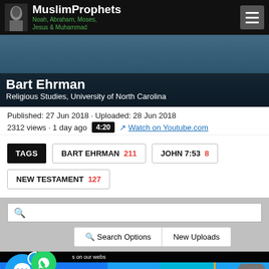MuslimProphets — Noah, Abraham, Moses, Jesus & Muhammad
[Figure (screenshot): Video thumbnail showing Bart Ehrman at a podium with overlay text: Bart Ehrman, Religious Studies, University of North Carolina]
Published: 27 Jun 2018 · Uploaded: 28 Jun 2018
2312 views · 1 day ago  4:20  Watch on Youtube.com
TAGS  BART EHRMAN 211  JOHN 7:53 8  NEW TESTAMENT 127
Search Options  New Uploads
[Figure (screenshot): Bottom social sharing bar with Facebook, Like, Twitter, SMS, and crown icons, plus floating chat bubble with badge 1, WhatsApp icon, and scroll-to-top button]